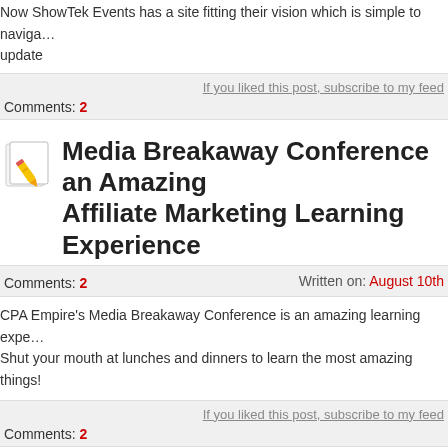Now ShowTek Events has a site fitting their vision which is simple to navigate and easy to update
If you liked this post, subscribe to my feed
Comments: 2
Media Breakaway Conference an Amazing Affiliate Marketing Learning Experience
Comments: 2    Written on: August 10th
CPA Empire's Media Breakaway Conference is an amazing learning experience. Shut your mouth at lunches and dinners to learn the most amazing things!
If you liked this post, subscribe to my feed
Comments: 2